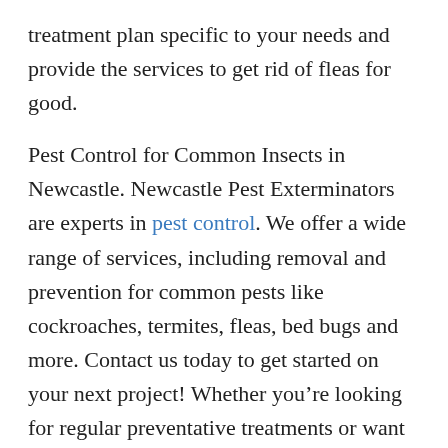treatment plan specific to your needs and provide the services to get rid of fleas for good.
Pest Control for Common Insects in Newcastle. Newcastle Pest Exterminators are experts in pest control. We offer a wide range of services, including removal and prevention for common pests like cockroaches, termites, fleas, bed bugs and more. Contact us today to get started on your next project! Whether you’re looking for regular preventative treatments or want the professionals to come out after an infestation has occurred, we’ve got you covered.